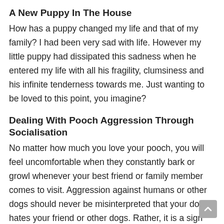A New Puppy In The House
How has a puppy changed my life and that of my family? I had been very sad with life. However my little puppy had dissipated this sadness when he entered my life with all his fragility, clumsiness and his infinite tenderness towards me. Just wanting to be loved to this point, you imagine?
Dealing With Pooch Aggression Through Socialisation
No matter how much you love your pooch, you will feel uncomfortable when they constantly bark or growl whenever your best friend or family member comes to visit. Aggression against humans or other dogs should never be misinterpreted that your dog hates your friend or other dogs. Rather, it is a sign that he or she is feeling anxious or fearful-and that should worry you too.